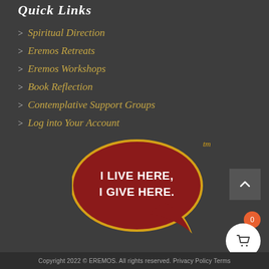Quick Links
Spiritual Direction
Eremos Retreats
Eremos Workshops
Book Reflection
Contemplative Support Groups
Log into Your Account
[Figure (logo): Speech bubble logo with dark red oval shape and gold outline tail reading 'I LIVE HERE, I GIVE HERE.' with 'tm' superscript in gold]
Copyright 2022 © EREMOS. All rights reserved. Privacy Policy Terms